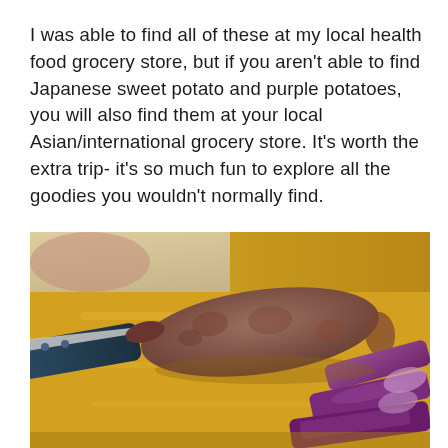I was able to find all of these at my local health food grocery store, but if you aren't able to find Japanese sweet potato and purple potatoes, you will also find them at your local Asian/international grocery store. It's worth the extra trip- it's so much fun to explore all the goodies you wouldn't normally find.
[Figure (photo): A photo of Japanese sweet potatoes and sliced purple potatoes on a wooden cutting board, with a knife visible on the left side.]